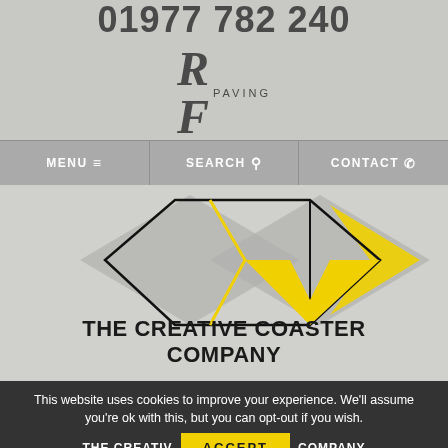01977 782 240
[Figure (logo): RF Paving logo with stylized bold italic RF letters and PAVING text]
MENU  ☰    SEARCH  🔍    CONTACT  📞
[Figure (logo): The Creative Coaster Company diamond/gem logo in grey and yellow with geometric shapes and THE CREATIVE COASTER COMPANY text]
This website uses cookies to improve your experience. We'll assume you're ok with this, but you can opt-out if you wish.
THE CREATIVE COASTER COMPANY  [ACCEPT button]